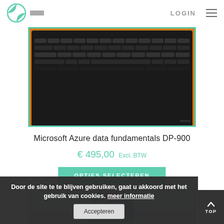LOGIN
[Figure (photo): Laptop keyboard on orange background, viewed from above, Lenovo laptop]
Microsoft Azure data fundamentals DP-900
€ 495,00 Excl. BTW
OPTIES SELECTEREN
[Figure (photo): Woman in blue blazer thinking, hand near chin]
Door de site te te blijven gebruiken, gaat u akkoord met het gebruik van cookies. meer informatie Accepteren